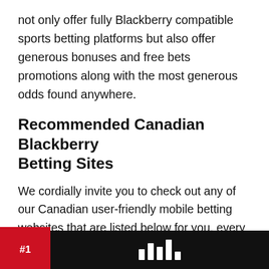not only offer fully Blackberry compatible sports betting platforms but also offer generous bonuses and free bets promotions along with the most generous odds found anywhere.
Recommended Canadian Blackberry Betting Sites
We cordially invite you to check out any of our Canadian user-friendly mobile betting websites that are listed below for you, every single one of them has been handpicked by us and as such, we can personally guarantee that they will all live up to and always will exceed your expectations, and when accessing any of them on a Blackberry you will find their betting platforms are child's play to use.
[Figure (other): Red and black banner with '#1' badge on the left and dark background with bar chart icon on the right]